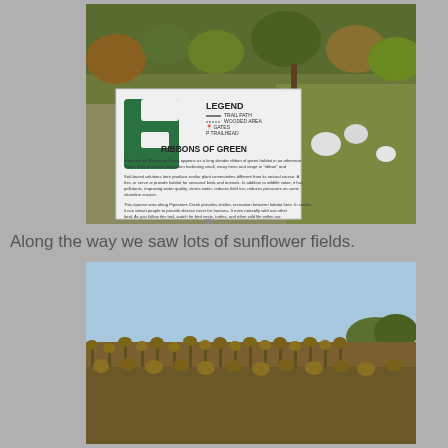[Figure (photo): Outdoor nature trail sign reading 'RIBBONS OF GREEN' with a legend for trail path, wooded area, gates, and trailhead. Green decorative shape on left side of sign. Background shows wooded area with trees in autumn foliage.]
Along the way we saw lots of sunflower fields.
[Figure (photo): Wide field of dried sunflowers under a blue sky with a few trees visible on the horizon.]